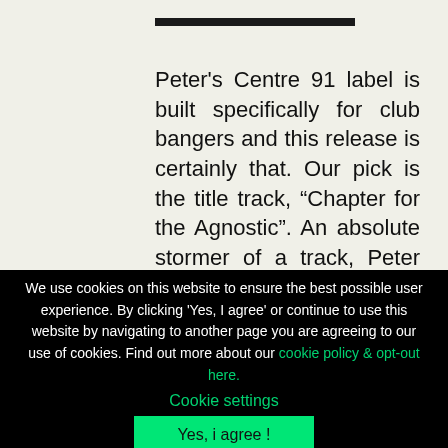Peter's Centre 91 label is built specifically for club bangers and this release is certainly that. Our pick is the title track, “Chapter for the Agnostic”. An absolute stormer of a track, Peter uses out of this world synth sounds layered on top of a bed
We use cookies on this website to ensure the best possible user experience. By clicking 'Yes, I agree' or continue to use this website by navigating to another page you are agreeing to our use of cookies. Find out more about our cookie policy & opt-out here.
Cookie settings
Yes, i agree !